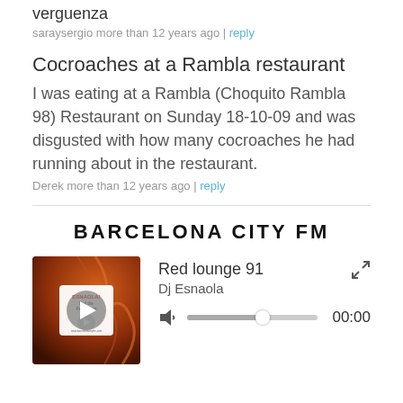verguenza
saraysergio more than 12 years ago | reply
Cocroaches at a Rambla restaurant
I was eating at a Rambla (Choquito Rambla 98) Restaurant on Sunday 18-10-09 and was disgusted with how many cocroaches he had running about in the restaurant.
Derek more than 12 years ago | reply
BARCELONA CITY FM
[Figure (screenshot): Music player widget showing album art for 'Red lounge 91' by Dj Esnaola with a play button overlay, volume slider at ~57%, and time display showing 00:00]
Red lounge 91
Dj Esnaola